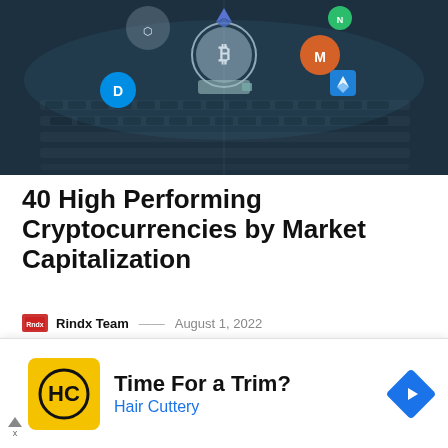[Figure (photo): Hero image showing a laptop keyboard in dark blue tones with various cryptocurrency logos and coins (Bitcoin, Ethereum, Monero, Dash, and others) floating above the keys.]
40 High Performing Cryptocurrencies by Market Capitalization
Rindx Team — August 1, 2022
Cryptocurrencies can be described as digital/virtual s. It is intended for exchange mediums. Using
[Figure (infographic): Advertisement banner for Hair Cuttery with yellow/black HC logo, headline 'Time For a Trim?', brand name 'Hair Cuttery' in blue, and a blue navigation arrow icon on the right.]